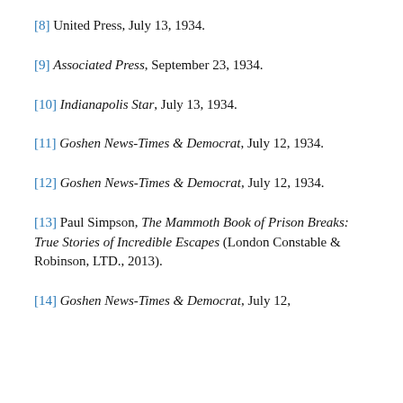[8] United Press, July 13, 1934.
[9] Associated Press, September 23, 1934.
[10] Indianapolis Star, July 13, 1934.
[11] Goshen News-Times & Democrat, July 12, 1934.
[12] Goshen News-Times & Democrat, July 12, 1934.
[13] Paul Simpson, The Mammoth Book of Prison Breaks: True Stories of Incredible Escapes (London Constable & Robinson, LTD., 2013).
[14] Goshen News-Times & Democrat, July 12,